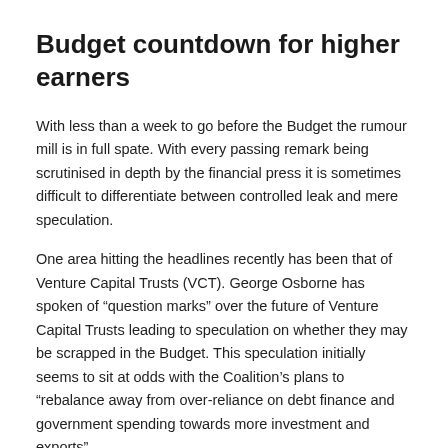Budget countdown for higher earners
With less than a week to go before the Budget the rumour mill is in full spate. With every passing remark being scrutinised in depth by the financial press it is sometimes difficult to differentiate between controlled leak and mere speculation.
One area hitting the headlines recently has been that of Venture Capital Trusts (VCT). George Osborne has spoken of “question marks” over the future of Venture Capital Trusts leading to speculation on whether they may be scrapped in the Budget. This speculation initially seems to sit at odds with the Coalition’s plans to “rebalance away from over-reliance on debt finance and government spending towards more investment and exports”.
George Osborne’s remarks could be taken as a reaction to the recent recommendation from the Office of Tax Simplification to align the tax regulations for Venture Capital Trusts and Enterprise Investment Schemes. Both VCT and EIS can be effective elements within a tax planning portfolio for higher rate tax payers.
One other tax efficient scheme which is under review is that of